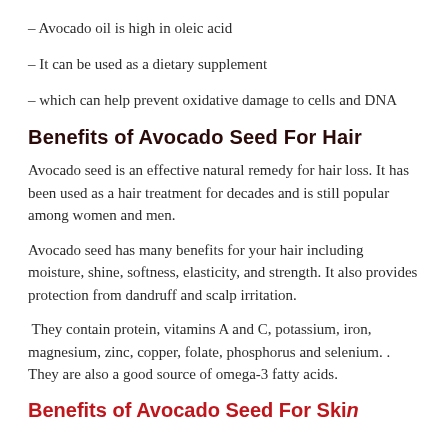– Avocado oil is high in oleic acid
– It can be used as a dietary supplement
– which can help prevent oxidative damage to cells and DNA
Benefits of Avocado Seed For Hair
Avocado seed is an effective natural remedy for hair loss. It has been used as a hair treatment for decades and is still popular among women and men.
Avocado seed has many benefits for your hair including moisture, shine, softness, elasticity, and strength. It also provides protection from dandruff and scalp irritation.
They contain protein, vitamins A and C, potassium, iron, magnesium, zinc, copper, folate, phosphorus and selenium. . They are also a good source of omega-3 fatty acids.
Benefits of Avocado Seed For Skin